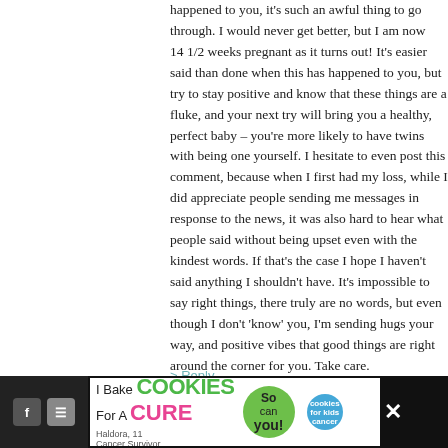happened to you, it's such an awful thing to go through. I would never get better, but I am now 14 1/2 weeks pregnant as it turns out! It's easier said than done when this has happened to you, but try to stay positive and know that these things are a fluke, and your next try will bring you a healthy, perfect baby – you're more likely to have twins with being one yourself. I hesitate to even post this comment, because when I first had my loss, while I did appreciate people sending me messages in response to the news, it was also hard to hear what people said without being upset even with the kindest words. If that's the case I hope I haven't said anything I shouldn't have. It's impossible to say right things, there truly are no words, but even though I don't 'know' you, I'm sending hugs your way, and positive vibes that good things are right around the corner for you. Take care.
> Reply
Kayt says:
MAY 16TH, 2012 AT 9:43 AM
I'm almost in the same boat. I lost my second pregnanc...
[Figure (infographic): Advertisement banner: 'I Bake COOKIES For A CURE' with Haldora, 11 Cancer Survivor, and 'So can you!' badge with cookies for kids cancer logo, and a close button]